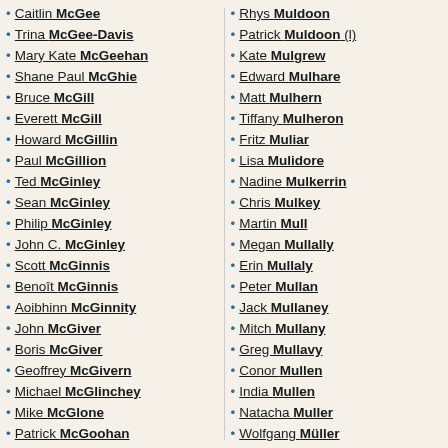Caitlin McGee
Trina McGee-Davis
Mary Kate McGeehan
Shane Paul McGhie
Bruce McGill
Everett McGill
Howard McGillin
Paul McGillion
Ted McGinley
Sean McGinley
Philip McGinley
John C. McGinley
Scott McGinnis
Benoît McGinnis
Aoibhinn McGinnity
John McGiver
Boris McGiver
Geoffrey McGivern
Michael McGlinchey
Mike McGlone
Patrick McGoohan
Matt McGorry
Elizabeth McGovern
Jonny McGovern
Rose McGowan
Tom McGowan
Alistair McGowan
James McGowan
Rhys Muldoon
Patrick Muldoon (l)
Kate Mulgrew
Edward Mulhare
Matt Mulhern
Tiffany Mulheron
Fritz Muliar
Lisa Mulidore
Nadine Mulkerrin
Chris Mulkey
Martin Mull
Megan Mullally
Erin Mullaly
Peter Mullan
Jack Mullaney
Mitch Mullany
Greg Mullavy
Conor Mullen
India Mullen
Natacha Muller
Wolfgang Müller
Christiane Muller
Florence Muller
Petter Muller
Peter Paul Muller
Richy Müller
Pierre René Müller
Germain Muller